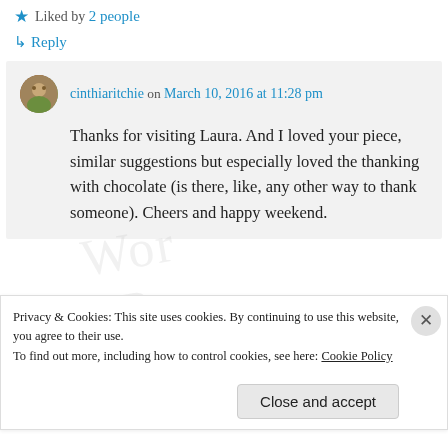Liked by 2 people
Reply
cinthiaritchie on March 10, 2016 at 11:28 pm
Thanks for visiting Laura. And I loved your piece, similar suggestions but especially loved the thanking with chocolate (is there, like, any other way to thank someone). Cheers and happy weekend.
Privacy & Cookies: This site uses cookies. By continuing to use this website, you agree to their use. To find out more, including how to control cookies, see here: Cookie Policy
Close and accept